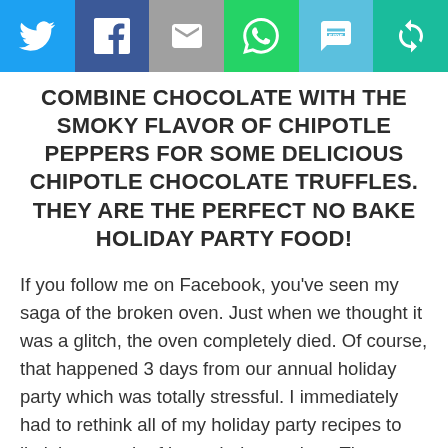[Figure (infographic): Social sharing bar with icons: Twitter (blue), Facebook (dark blue), Email/envelope (grey), WhatsApp (green), SMS (light blue), and a refresh/share icon (teal)]
COMBINE CHOCOLATE WITH THE SMOKY FLAVOR OF CHIPOTLE PEPPERS FOR SOME DELICIOUS CHIPOTLE CHOCOLATE TRUFFLES. THEY ARE THE PERFECT NO BAKE HOLIDAY PARTY FOOD!
If you follow me on Facebook, you've seen my saga of the broken oven. Just when we thought it was a glitch, the oven completely died. Of course, that happened 3 days from our annual holiday party which was totally stressful. I immediately had to rethink all of my holiday party recipes to limit how much of it needed oven time. That meant no cookies, puff pastries or anything like that. Instead, I